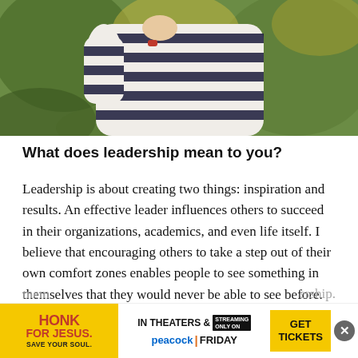[Figure (photo): Partial photo of a person wearing a navy blue and white striped shirt, outdoors with green and yellow foliage in the background]
What does leadership mean to you?
Leadership is about creating two things: inspiration and results. An effective leader influences others to succeed in their organizations, academics, and even life itself. I believe that encouraging others to take a step out of their own comfort zones enables people to see something in themselves that they would never be able to see before. People do more work when they are motivated and inspired by the right kind of leadership, not just by authority. Our collegiate advisor and past Xi Iota mem[ber exemplifies this kind of lead]ership. Kayl[a ...] ards
[Figure (infographic): Advertisement banner for HONK FOR JESUS. SAVE YOUR SOUL. movie — yellow background with red text, IN THEATERS & STREAMING ONLY ON peacock FRIDAY, GET TICKETS button, and close button]